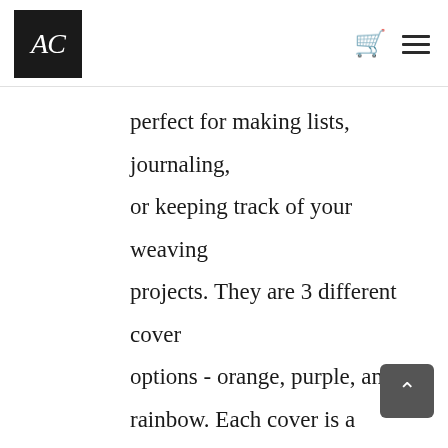AC [logo] | cart | menu
perfect for making lists, journaling, or keeping track of your weaving projects. They are 3 different cover options - orange, purple, and rainbow. Each cover is a photograph of a warp from one of Chris's weaving projects. All notebooks include an inspirational quote on the back cover. Check out a video preview below and enjoy!